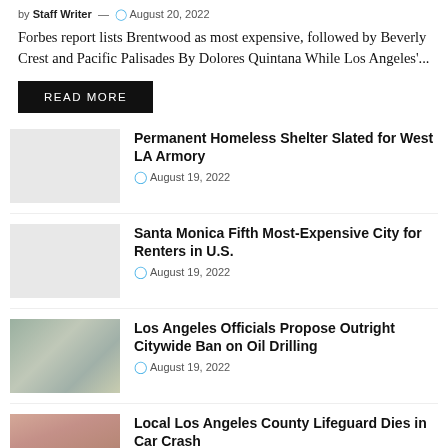by Staff Writer — August 20, 2022
Forbes report lists Brentwood as most expensive, followed by Beverly Crest and Pacific Palisades By Dolores Quintana While Los Angeles'...
READ MORE
[Figure (photo): Blank/placeholder thumbnail for Permanent Homeless Shelter article]
Permanent Homeless Shelter Slated for West LA Armory
August 19, 2022
[Figure (photo): Blank/placeholder thumbnail for Santa Monica article]
Santa Monica Fifth Most-Expensive City for Renters in U.S.
August 19, 2022
[Figure (photo): Outdoor/landscape thumbnail for Los Angeles Officials Oil Drilling article]
Los Angeles Officials Propose Outright Citywide Ban on Oil Drilling
August 19, 2022
[Figure (photo): Person/lifeguard photo thumbnail]
Local Los Angeles County Lifeguard Dies in Car Crash